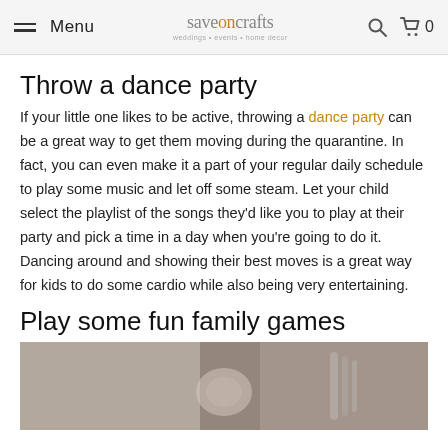Menu | saveoncrafts weddings • events • home decor | [search icon] | [cart 0]
Throw a dance party
If your little one likes to be active, throwing a dance party can be a great way to get them moving during the quarantine. In fact, you can even make it a part of your regular daily schedule to play some music and let off some steam. Let your child select the playlist of the songs they'd like you to play at their party and pick a time in a day when you're going to do it. Dancing around and showing their best moves is a great way for kids to do some cardio while also being very entertaining.
Play some fun family games
[Figure (photo): Photo of what appears to be a board game or family game on a table, partially visible.]